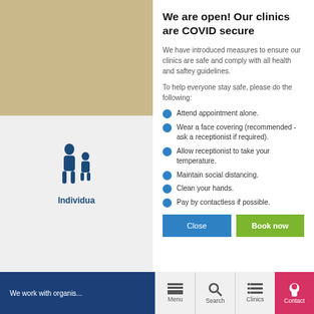We are open! Our clinics are COVID secure
We have introduced measures to ensure our clinics are safe and comply with all health and saftey guidelines.
To help everyone stay safe, please do the following:
Attend appointment alone.
Wear a face covering (recommended - ask a receptionist if required).
Allow receptionist to take your temperature.
Maintain social distancing.
Clean your hands.
Pay by contactless if possible.
Close | Book now
We work with organis... Menu Search Clinics Contact